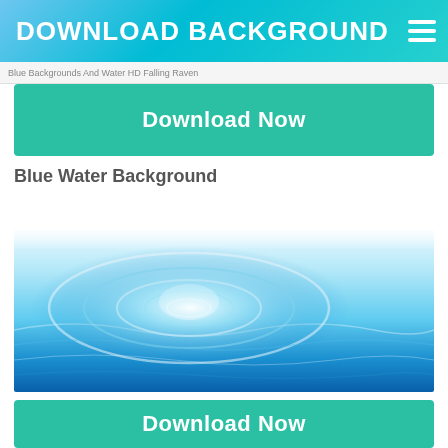DOWNLOAD BACKGROUND
Blue Backgrounds And Water HD Falling Raven
Download Now
Blue Water Background
[Figure (photo): Blue water ripple background image with circular wave patterns and white highlights fading from white at top to deep blue at bottom]
Download Now